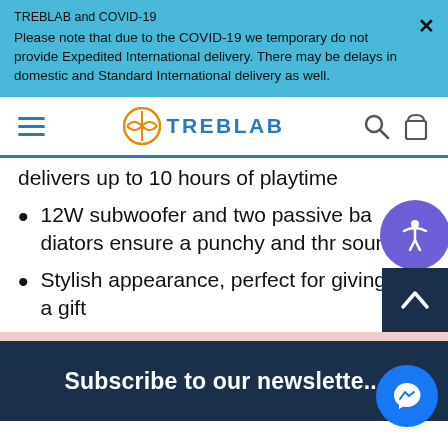TREBLAB and COVID-19
Please note that due to the COVID-19 we temporary do not provide Expedited International delivery. There may be delays in domestic and Standard International delivery as well.
[Figure (logo): TREBLAB logo with hamburger menu, search and bag icons in navigation bar]
delivers up to 10 hours of playtime
12W subwoofer and two passive ba... radiators ensure a punchy and thr... sound
Stylish appearance, perfect for giving as a gift
Subscribe to our newslette...